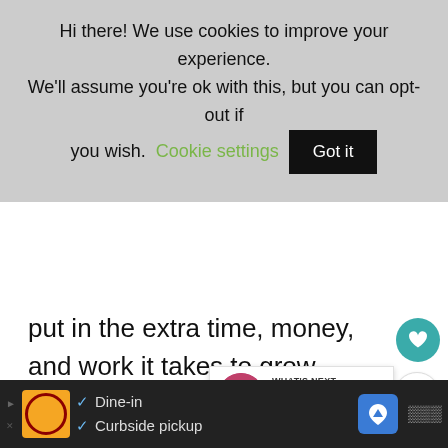Hi there! We use cookies to improve your experience. We'll assume you're ok with this, but you can opt-out if you wish. Cookie settings  Got it
put in the extra time, money, and work it takes to grow them. Annuals can also be less expensive than perennials when bought at garden nurseries.
[Figure (other): Heart icon button (teal circle with white heart)]
[Figure (other): Share icon button (white circle with share symbol)]
[Figure (other): What's Next promotional overlay: image of pink flowers, text 'WHAT'S NEXT → 15 Full-Sun Perennials f...']
Annuals, on the other hand, are famous for their bright, colorful and long lasting blooms. A few beloved annuals include
[Figure (other): Advertisement banner at bottom: restaurant ad showing Dine-in and Curbside pickup options with logo and map icon]